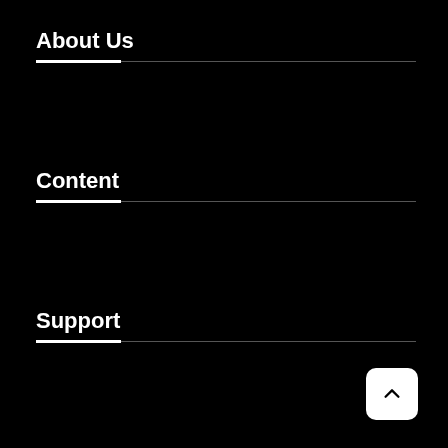About Us
Content
Support
[Figure (other): Back to top button — white rounded square with an upward-pointing chevron arrow]